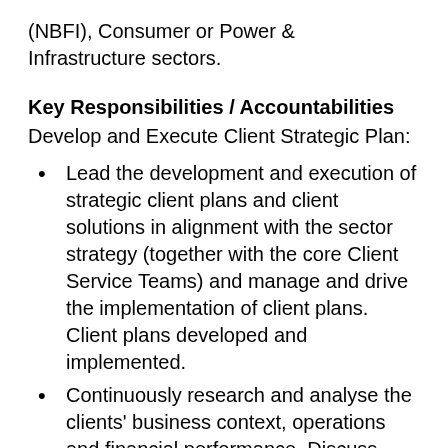(NBFI), Consumer or Power & Infrastructure sectors.
Key Responsibilities / Accountabilities
Develop and Execute Client Strategic Plan:
Lead the development and execution of strategic client plans and client solutions in alignment with the sector strategy (together with the core Client Service Teams) and manage and drive the implementation of client plans. Client plans developed and implemented.
Continuously research and analyse the clients' business context, operations and financial performance. Discuss current and future business opportunities with